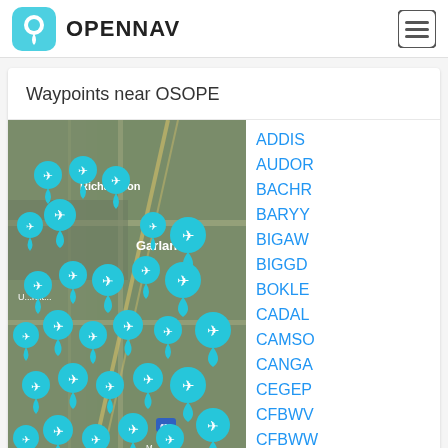OPENNAV
Waypoints near OSOPE
[Figure (map): Satellite map showing Richardson and Garland area with many teal airplane location pin markers clustered together]
ADDIS
AUDOR
BACHR
BARYY
BIGAW
BIGGD
BOKLE
CADAL
CAMSO
CANGA
CEGEP
CFBWV
CFBWW
CFBWX
CFBZP
CFBZO